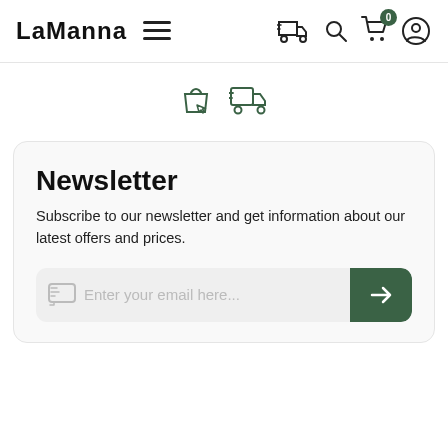LAMANNA — navigation header with logo, hamburger menu, delivery icon, search, cart (0), user account
[Figure (illustration): Two small green icons: a shopping bag with cursor and a delivery truck, centered below the header]
Newsletter
Subscribe to our newsletter and get information about our latest offers and prices.
Enter your email here...